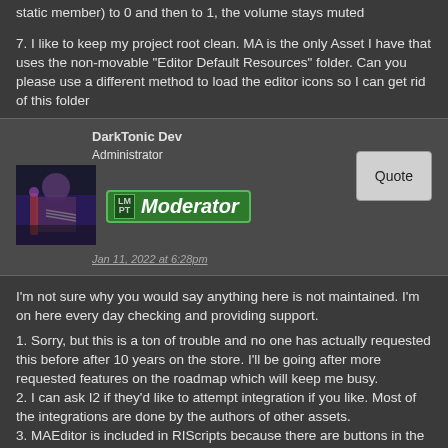static member) to 0 and then to 1, the volume stays muted
7. I like to keep my project root clean. MA is the only Asset I have that uses the non-movable "Editor Default Resources" folder. Can you please use a different method to load the editor icons so I can get rid of this folder
DarkTonic Dev
Administrator
[Figure (photo): Avatar photo of a person playing guitar on a dark stage]
[Figure (other): Moderator badge with LM PT label and green background]
Jan 11, 2022 at 6:28pm
Quote
I'm not sure why you would say anything here is not maintained. I'm on here every day checking and providing support.
1. Sorry, but this is a ton of trouble and no one has actually requested this before after 10 years on the store. I'll be going after more requested features on the roadmap which will keep me busy.
2. I can ask I2 if they'd like to attempt integration if you like. Most of the integrations are done by the authors of other assets.
3. MAEditor is included in RIScripts because there are buttons in the Inspectors to launch Relations Inspector. I'm not sure why it would be